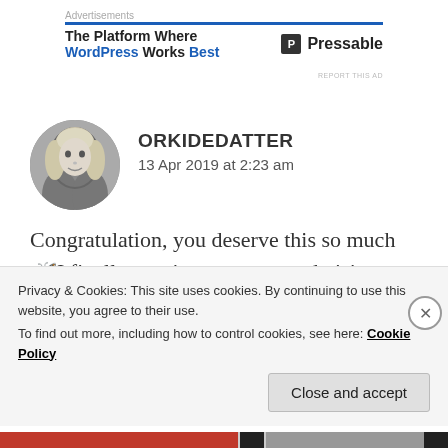Advertisements
[Figure (screenshot): Advertisement banner for Pressable hosting: 'The Platform Where WordPress Works Best' with Pressable logo]
[Figure (photo): Circular avatar photo of a person with blonde hair, black and white]
ORKIDEDATTER
13 Apr 2019 at 2:23 am
Congratulation, you deserve this so much🦋I finally got time to come and visit your blogg. I love to read about you. It is very nice to get to know you a little
Privacy & Cookies: This site uses cookies. By continuing to use this website, you agree to their use.
To find out more, including how to control cookies, see here: Cookie Policy
Close and accept